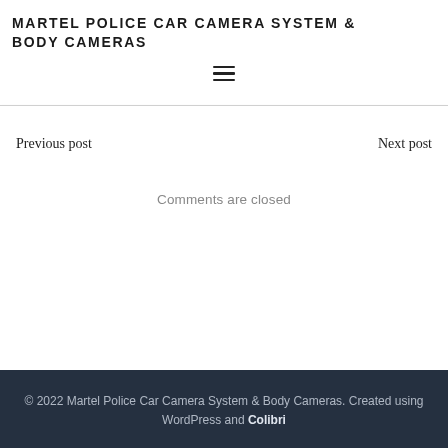MARTEL POLICE CAR CAMERA SYSTEM & BODY CAMERAS
[Figure (other): Hamburger menu icon (three horizontal lines)]
Previous post
Next post
Comments are closed
© 2022 Martel Police Car Camera System & Body Cameras. Created using WordPress and Colibri